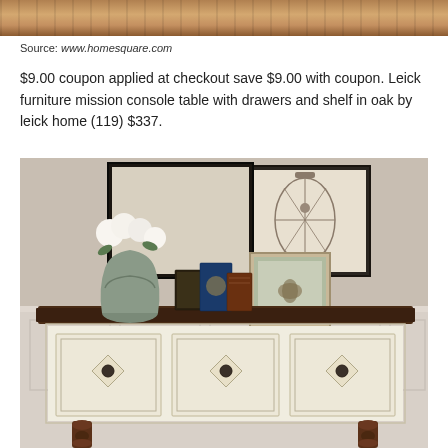[Figure (photo): Close-up photo of a wooden surface, warm brown tones, likely a table top with wood grain texture]
Source: www.homesquare.com
$9.00 coupon applied at checkout save $9.00 with coupon. Leick furniture mission console table with drawers and shelf in oak by leick home (119) $337.
[Figure (photo): Photo of a decorative console table with cream/ivory painted body and dark walnut top, featuring three drawers with diamond-pattern fronts and antique brass knobs. On top sits a ceramic vase with white roses, stacked vintage books, and a small butterfly framed picture. Behind are two framed art pieces including a bird cage illustration. The table stands against a wainscoted wall in beige tones.]